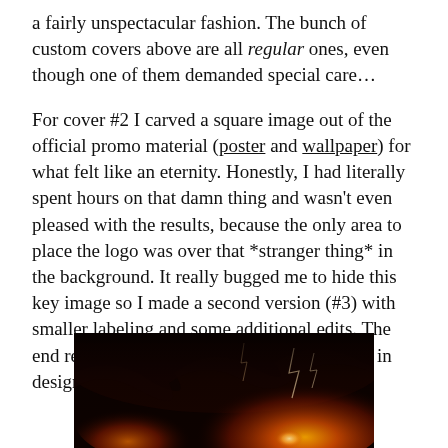a fairly unspectacular fashion. The bunch of custom covers above are all regular ones, even though one of them demanded special care…

For cover #2 I carved a square image out of the official promo material (poster and wallpaper) for what felt like an eternity. Honestly, I had literally spent hours on that damn thing and wasn't even pleased with the results, because the only area to place the logo was over that *stranger thing* in the background. It really bugged me to hide this key image so I made a second version (#3) with smaller labeling and some additional edits. The end result is a pair of allied artworks, similar in design, different in size. It's yours to choose.
[Figure (photo): A dark atmospheric image showing swirling clouds or smoke with orange/red fiery glowing light and lightning effects against a very dark background.]